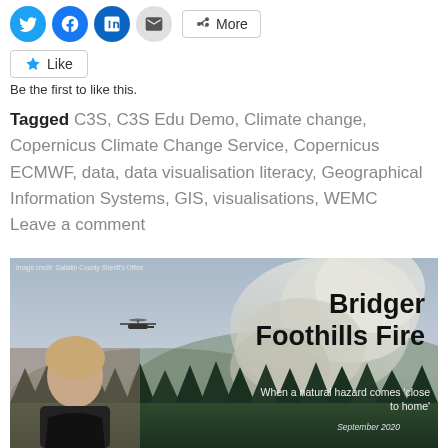[Figure (other): Social media sharing buttons row: Twitter (blue circle), Facebook (blue circle), LinkedIn (blue circle), Email (grey circle), More button with share icon]
[Figure (other): Like button with star icon, followed by text 'Be the first to like this.']
Tagged C3S, C3S Edu Demo, Climate change, Copernicus Climate Change Service, Copernicus ECMWF, data, data visualisation literacy, Geographical Information Systems, GIS, visualisations, WEMC      Leave a comment
[Figure (photo): Photo of wildfire smoke rising above forested hills with a helicopter visible. A person's face is composited in the lower left. Overlaid text reads 'Bridger Foothills Fire', 'When a natural hazard comes close to home', 'September 2020'. Small credit text: 'Image credit: Gallatin County Sheriff's Office']